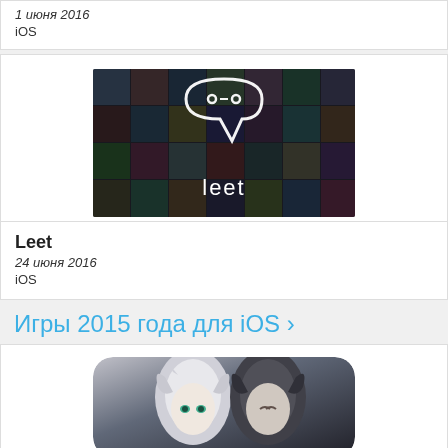1 июня 2016
iOS
[Figure (photo): Leet app promotional image — dark mosaic grid background with speech bubble containing a game controller icon and the word 'leet' in white]
Leet
24 июня 2016
iOS
Игры 2015 года для iOS >
[Figure (photo): Fantasy RPG game cover image showing two anime-style characters — one with silver/white hair and one with dark hair and teal eyes, with a dark atmospheric background]